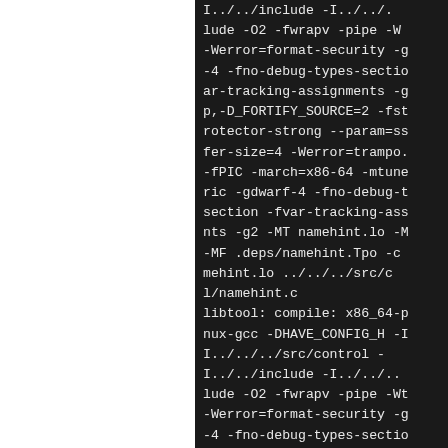I../../include -I../../. lude -O2 -fwrapv -pipe -W -Werror=format-security -g -4 -fno-debug-types-sectio ar-tracking-assignments -g p,-D_FORTIFY_SOURCE=2 -fst rotector-strong --param=ss fer-size=4 -Werror=trampo. -fPIC -march=x86-64 -mtune ric -gdwarf-4 -fno-debug-t section -fvar-tracking-ass nts -g2 -MT namehint.lo -M -MF .deps/namehint.Tpo -c mehint.lo ../../../src/c l/namehint.c libtool: compile: x86_64-p nux-gcc -DHAVE_CONFIG_H -I I../../../src/control - I../../include -I../../.. lude -O2 -fwrapv -pipe -Wt -Werror=format-security -g -4 -fno-debug-types-sectio ar-tracking-assignments -g p,-D_FORTIFY_SOURCE=2 -fs